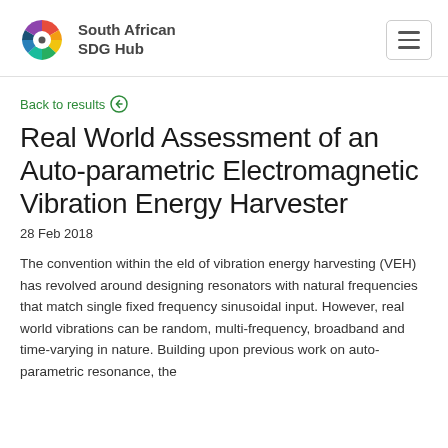South African SDG Hub
Back to results
Real World Assessment of an Auto-parametric Electromagnetic Vibration Energy Harvester
28 Feb 2018
The convention within the eld of vibration energy harvesting (VEH) has revolved around designing resonators with natural frequencies that match single fixed frequency sinusoidal input. However, real world vibrations can be random, multi-frequency, broadband and time-varying in nature. Building upon previous work on auto-parametric resonance, the